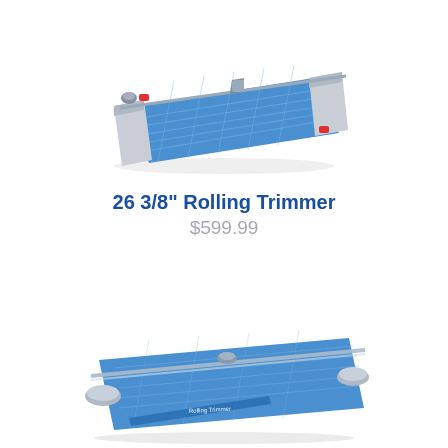[Figure (photo): A blue and silver 26 3/8 inch rolling paper trimmer viewed from a slight angle, showing the cutting track, red accents, and base.]
26 3/8" Rolling Trimmer
$599.99
[Figure (photo): A long blue rolling trimmer with a chrome/silver handle rail, viewed from a low angle showing the cutting mat surface.]